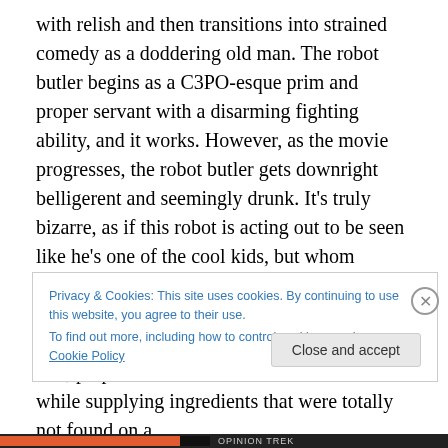with relish and then transitions into strained comedy as a doddering old man. The robot butler begins as a C3PO-esque prim and proper servant with a disarming fighting ability, and it works. However, as the movie progresses, the robot butler gets downright belligerent and seemingly drunk. It’s truly bizarre, as if this robot is acting out to be seen like he’s one of the cool kids, but whom exactly is he trying to impress? At one point, he tells Wahlberg that he is “on my shit list” and torpedoes out of a submarine, brings back fish, prepares a sushi dinner for the humans while supplying ingredients that were totally not found on a
Privacy & Cookies: This site uses cookies. By continuing to use this website, you agree to their use.
To find out more, including how to control cookies, see here: Cookie Policy
Close and accept